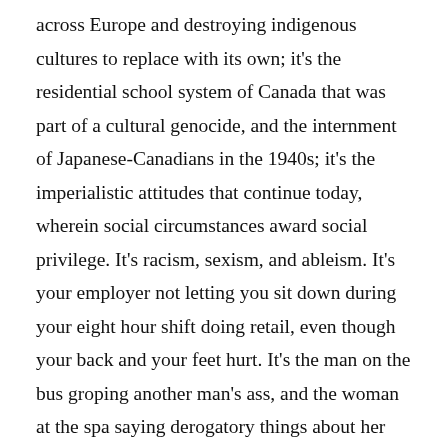across Europe and destroying indigenous cultures to replace with its own; it's the residential school system of Canada that was part of a cultural genocide, and the internment of Japanese-Canadians in the 1940s; it's the imperialistic attitudes that continue today, wherein social circumstances award social privilege. It's racism, sexism, and ableism. It's your employer not letting you sit down during your eight hour shift doing retail, even though your back and your feet hurt. It's the man on the bus groping another man's ass, and the woman at the spa saying derogatory things about her friend who couldn't afford to go. It's pushing someone out of the way in the line up for boxing day sales. It's the activist who chastises others for their lack of education about an issue- without realizing that not everyone has had access to education.